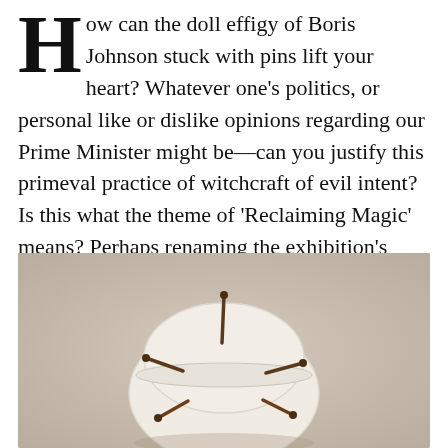ow can the doll effigy of Boris Johnson stuck with pins lift your heart? Whatever one's politics, or personal like or dislike opinions regarding our Prime Minister might be—can you justify this primeval practice of witchcraft of evil intent? Is this what the theme of 'Reclaiming Magic' means? Perhaps renaming the exhibition's theme to Reclaiming Black Magic might be more appropriate?
[Figure (photo): A white fabric doll or effigy shaped like a rounded form with multiple dark wooden pins/nails stuck into it, photographed against a warm grey/beige background.]